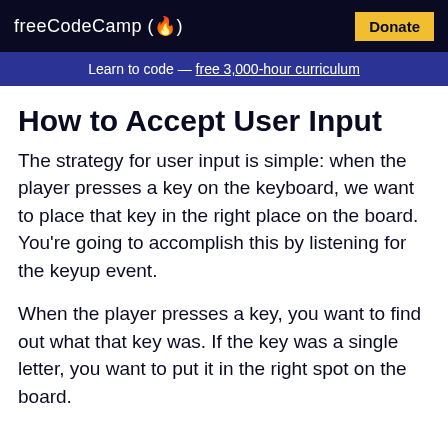freeCodeCamp (🔥)  Donate
Learn to code — free 3,000-hour curriculum
How to Accept User Input
The strategy for user input is simple: when the player presses a key on the keyboard, we want to place that key in the right place on the board. You're going to accomplish this by listening for the keyup event.
When the player presses a key, you want to find out what that key was. If the key was a single letter, you want to put it in the right spot on the board.